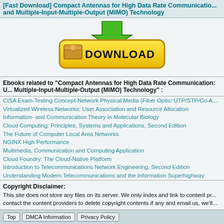[Fast Download] Compact Antennas for High Data Rate Communication and Multiple-Input-Multiple-Output (MIMO) Technology
[Figure (illustration): Download button with box icon and green arrow, yellow rounded rectangle with DOWNLOAD text]
Ebooks related to "Compact Antennas for High Data Rate Communication: Use of Multiple-Input-Multiple-Output (MIMO) Technology" :
CISA Exam-Testing Concept-Network Physical Media (Fiber Optic/ UTP/STP/Co-A...
Virtualized Wireless Networks: User Association and Resource Allocation
Information- and Communication Theory in Molecular Biology
Cloud Computing: Principles, Systems and Applications, Second Edition
The Future of Computer Local Area Networks
NGINX High Performance
Multimedia, Communication and Computing Application
Cloud Foundry: The Cloud-Native Platform
Introduction to Telecommunications Network Engineering, Second Edition
Understanding Modern Telecommunications and the Information Superhighway
Copyright Disclaimer:
This site does not store any files on its server. We only index and link to content provided by other sites. Please contact the content providers to delete copyright contents if any and email us, we'll remove relevant links or contents immediately.
Top   DMCA Information   Privacy Policy